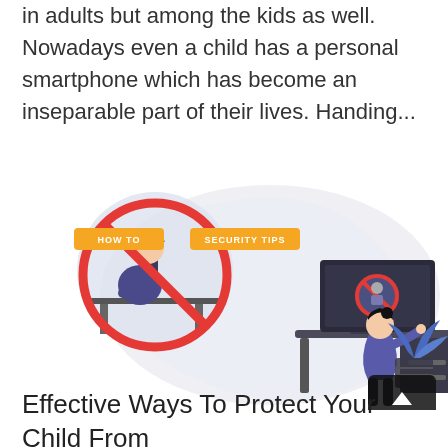in adults but among the kids as well. Nowadays even a child has a personal smartphone which has become an inseparable part of their lives. Handing...
[Figure (illustration): Illustration showing a child at a computer desk viewing a monitor that displays an online predator/danger warning symbol (person with a red prohibition circle). On the left is a circular inset with a similar symbol. Two orange tags read 'HOW TO' and 'SECURITY TIPS'. A decorative plant is visible on the right side.]
Effective Ways To Protect Your Child From Online Predators